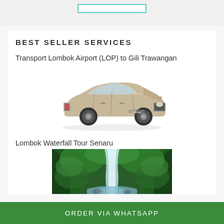BEST SELLER SERVICES
Transport Lombok Airport (LOP) to Gili Trawangan
[Figure (photo): Silver Toyota Innova car on white background]
Lombok Waterfall Tour Senaru
[Figure (photo): Waterfall in lush green jungle landscape, Senaru, Lombok]
ORDER VIA WHATSAPP